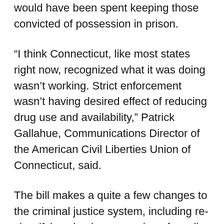would have been spent keeping those convicted of possession in prison.
“I think Connecticut, like most states right now, recognized what it was doing wasn’t working. Strict enforcement wasn’t having desired effect of reducing drug use and availability,” Patrick Gallahue, Communications Director of the American Civil Liberties Union of Connecticut, said.
The bill makes a quite a few changes to the criminal justice system, including re-classifying simple possession of small amounts of drugs from a felony to a misdemeanor and eliminating mandatory minimum sentences for possession of drugs within 1,500 feet of a school or day care center, which now punishes urban residents.
Anyone who was convicted of possession would be eligible to apply to have his or her conviction erased, Gallahue said.